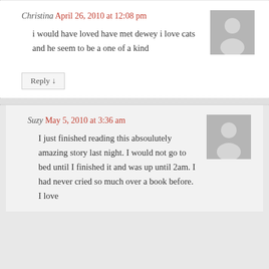Christina April 26, 2010 at 12:08 pm
i would have loved have met dewey i love cats and he seem to be a one of a kind
Reply ↓
Suzy May 5, 2010 at 3:36 am
I just finished reading this absoulutely amazing story last night. I would not go to bed until I finished it and was up until 2am. I had never cried so much over a book before. I love